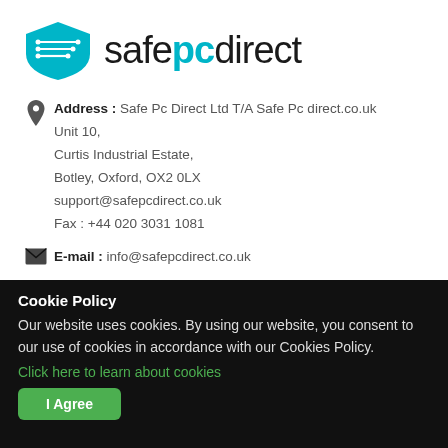[Figure (logo): Safe PC Direct logo: teal shield with circuit lines, text 'safe pc direct' where 'pc' is in teal/cyan bold]
Address : Safe Pc Direct Ltd T/A Safe Pc direct.co.uk
Unit 10,
Curtis Industrial Estate,
Botley, Oxford, OX2 0LX
support@safepcdirect.co.uk
Fax : +44 020 3031 1081
E-mail : info@safepcdirect.co.uk
Phone : (+44) 01865 952725
Cookie Policy
Our website uses cookies. By using our website, you consent to our use of cookies in accordance with our Cookies Policy.
Click here to learn about cookies
I Agree